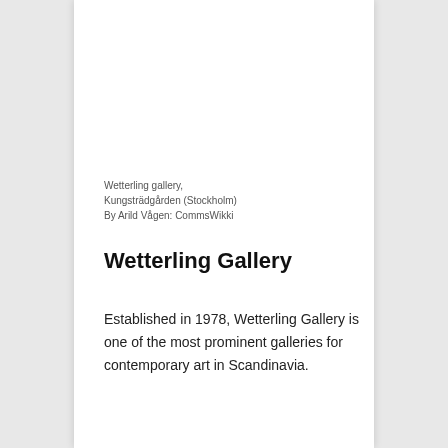Wetterling gallery, Kungsträdgården (Stockholm) By Arild Vågen: CommsWikki
Wetterling Gallery
Established in 1978, Wetterling Gallery is one of the most prominent galleries for contemporary art in Scandinavia.